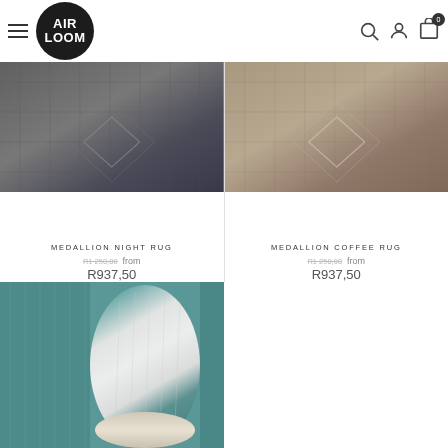[Figure (logo): Air Loom logo — black circle with white text AIR LOOM]
[Figure (photo): Medallion Night Rug — dark grey/charcoal patterned rug]
MEDALLION NIGHT RUG
R1 250,00  from  R937,50
[Figure (photo): Medallion Coffee Rug — beige/tan patterned rug]
MEDALLION COFFEE RUG
R1 250,00  from  R937,50
[Figure (photo): Third rug product — teal/white patterned rug rolled up]